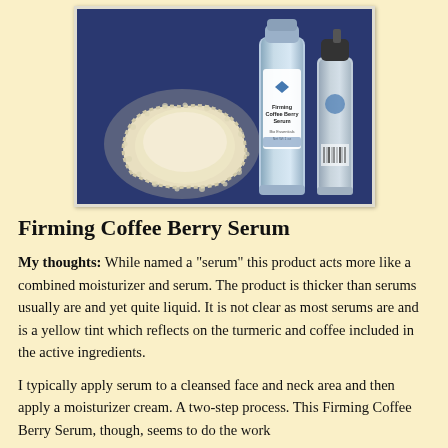[Figure (photo): Photo of Firming Coffee Berry Serum products on a dark blue background: a cream-colored powder on a lace doily, a tall cylindrical bottle labeled 'Firming Coffee Berry Serum', and a smaller pump bottle.]
Firming Coffee Berry Serum
My thoughts: While named a "serum" this product acts more like a combined moisturizer and serum. The product is thicker than serums usually are and yet quite liquid. It is not clear as most serums are and is a yellow tint which reflects on the turmeric and coffee included in the active ingredients.
I typically apply serum to a cleansed face and neck area and then apply a moisturizer cream. A two-step process. This Firming Coffee Berry Serum, though, seems to do the work